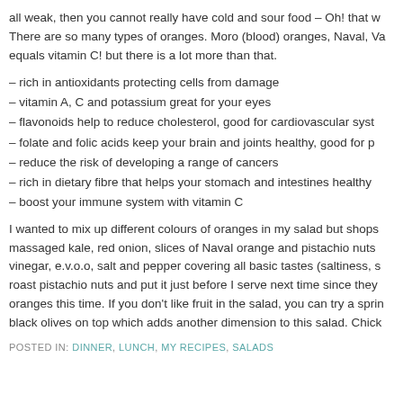all weak, then you cannot really have cold and sour food – Oh! that w... There are so many types of oranges. Moro (blood) oranges, Naval, Va... equals vitamin C! but there is a lot more than that.
– rich in antioxidants protecting cells from damage
– vitamin A, C and potassium great for your eyes
– flavonoids help to reduce cholesterol, good for cardiovascular syst...
– folate and folic acids keep your brain and joints healthy, good for p...
– reduce the risk of developing a range of cancers
– rich in dietary fibre that helps your stomach and intestines healthy
– boost your immune system with vitamin C
I wanted to mix up different colours of oranges in my salad but shops... massaged kale, red onion, slices of Naval orange and pistachio nuts ... vinegar, e.v.o.o, salt and pepper covering all basic tastes (saltiness, s... roast pistachio nuts and put it just before I serve next time since they... oranges this time. If you don't like fruit in the salad, you can try a sprin... black olives on top which adds another dimension to this salad. Chick...
POSTED IN: DINNER, LUNCH, MY RECIPES, SALADS